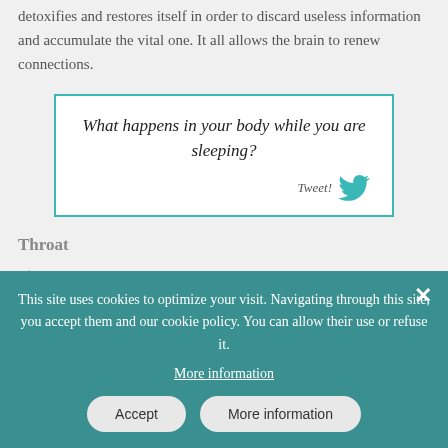detoxifies and restores itself in order to discard useless information and accumulate the vital one. It all allows the brain to renew connections.
[Figure (other): Tweet quote box with teal border containing italic text 'What happens in your body while you are sleeping?' and a Tweet! label with Twitter bird icon]
Throat
(faded background text partially visible behind cookie banner)
This site uses cookies to optimize your visit. Navigating through this site, you accept them and our cookie policy. You can allow their use or refuse it.
More information
Accept  More information